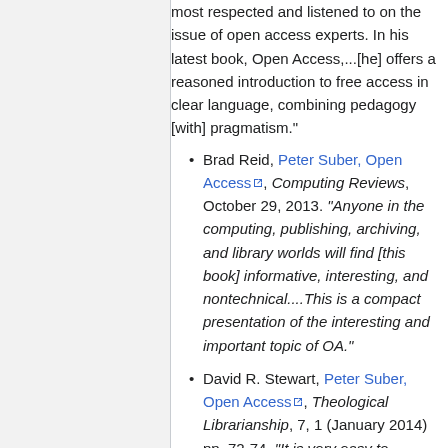most respected and listened to on the issue of open access experts. In his latest book, Open Access,...[he] offers a reasoned introduction to free access in clear language, combining pedagogy [with] pragmatism."
Brad Reid, Peter Suber, Open Access, Computing Reviews, October 29, 2013. "Anyone in the computing, publishing, archiving, and library worlds will find [this book] informative, interesting, and nontechnical....This is a compact presentation of the interesting and important topic of OA."
David R. Stewart, Peter Suber, Open Access, Theological Librarianship, 7, 1 (January 2014) pp. 72-74. "It is very easy to imagine a book on this urgent topic that is too complex, too